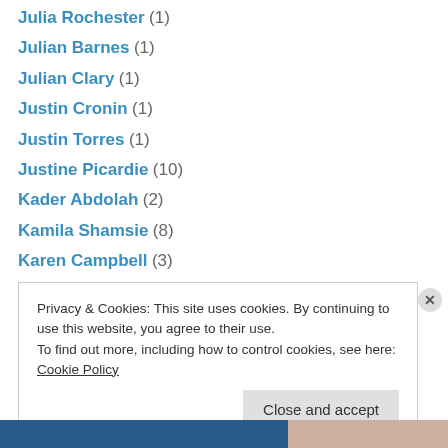Julia Rochester (1)
Julian Barnes (1)
Julian Clary (1)
Justin Cronin (1)
Justin Torres (1)
Justine Picardie (10)
Kader Abdolah (2)
Kamila Shamsie (8)
Karen Campbell (3)
Karen Lord (1)
Karen McLeod (2)
Karen Thompson Walker (1)
Karl Geary (1)
Privacy & Cookies: This site uses cookies. By continuing to use this website, you agree to their use.
To find out more, including how to control cookies, see here: Cookie Policy
Close and accept